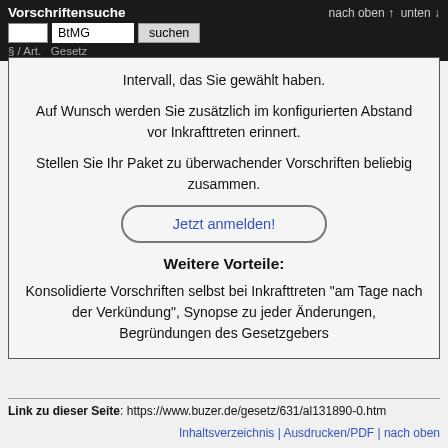Vorschriftensuche | BtMG suchen | § / Art.  Gesetz | nach oben ↑ unten ↓
Intervall, das Sie gewählt haben.
Auf Wunsch werden Sie zusätzlich im konfigurierten Abstand vor Inkrafttreten erinnert.
Stellen Sie Ihr Paket zu überwachender Vorschriften beliebig zusammen.
Jetzt anmelden!
Weitere Vorteile:
Konsolidierte Vorschriften selbst bei Inkrafttreten "am Tage nach der Verkündung", Synopse zu jeder Änderungen, Begründungen des Gesetzgebers
Link zu dieser Seite: https://www.buzer.de/gesetz/631/al131890-0.htm
Inhaltsverzeichnis | Ausdrucken/PDF | nach oben